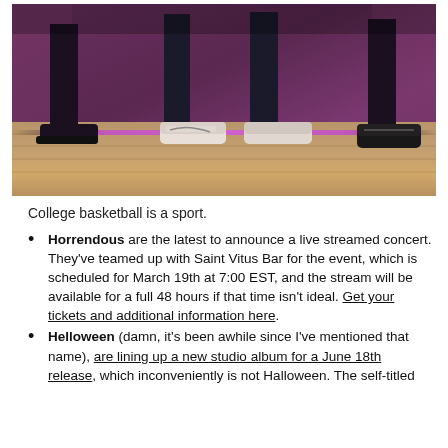[Figure (photo): Photo showing the lower bodies and feet/shoes of several people standing on a wooden stage floor with purple/pink stage lighting. Visible are black dress shoes on the left, white Nike sneakers in the middle, and black sneakers on the right.]
College basketball is a sport.
Horrendous are the latest to announce a live streamed concert. They've teamed up with Saint Vitus Bar for the event, which is scheduled for March 19th at 7:00 EST, and the stream will be available for a full 48 hours if that time isn't ideal. Get your tickets and additional information here.
Helloween (damn, it's been awhile since I've mentioned that name), are lining up a new studio album for a June 18th release, which inconveniently is not Halloween. The self-titled album will...